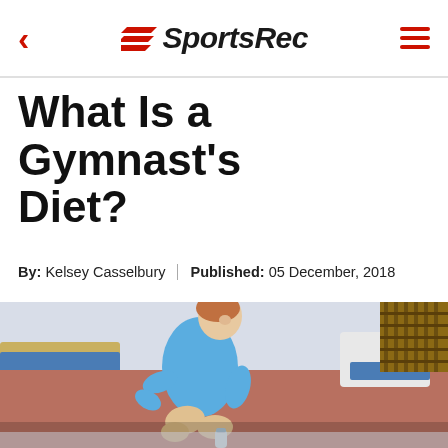SportsRec
What Is a Gymnast's Diet?
By: Kelsey Casselbury | Published: 05 December, 2018
[Figure (photo): Female gymnast in a blue leotard sitting in a gymnasium, smiling, with gymnastics equipment visible in the background.]